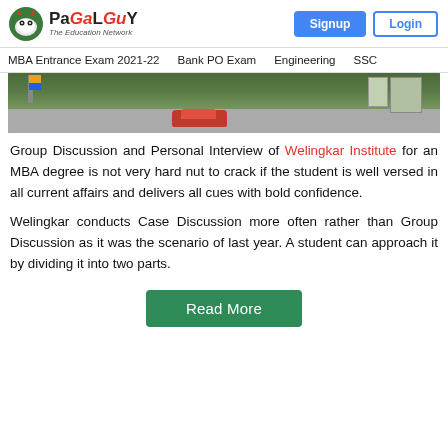PaGaLGuY – The Education Network | Signup | Login
MBA Entrance Exam 2021-22  Bank PO Exam  Engineering  SSC
[Figure (photo): Partial view of a building exterior with a red car parked in front, flags visible, gated entrance.]
Group Discussion and Personal Interview of Welingkar Institute for an MBA degree is not very hard nut to crack if the student is well versed in all current affairs and delivers all cues with bold confidence.
Welingkar conducts Case Discussion more often rather than Group Discussion as it was the scenario of last year. A student can approach it by dividing it into two parts.
Read More